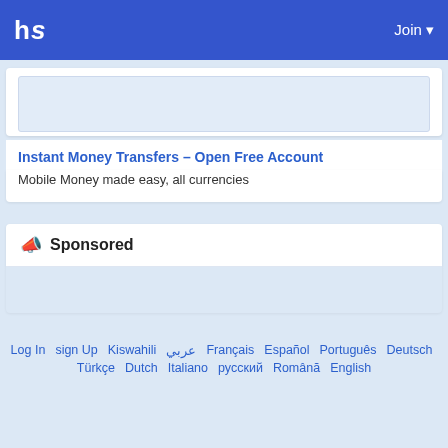hs  Join
[Figure (screenshot): White ad card with a light blue image placeholder area at the top]
Instant Money Transfers – Open Free Account
Mobile Money made easy, all currencies
📣 Sponsored
[Figure (screenshot): Sponsored ad content area with light blue background]
Log In  sign Up  Kiswahili  عربي  Français  Español  Português  Deutsch  Türkçe  Dutch  Italiano  русский  Română  English